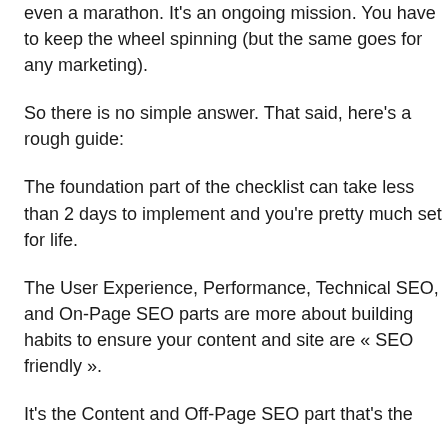even a marathon. It's an ongoing mission. You have to keep the wheel spinning (but the same goes for any marketing).
So there is no simple answer. That said, here's a rough guide:
The foundation part of the checklist can take less than 2 days to implement and you're pretty much set for life.
The User Experience, Performance, Technical SEO, and On-Page SEO parts are more about building habits to ensure your content and site are « SEO friendly ».
It's the Content and Off-Page SEO part that's the